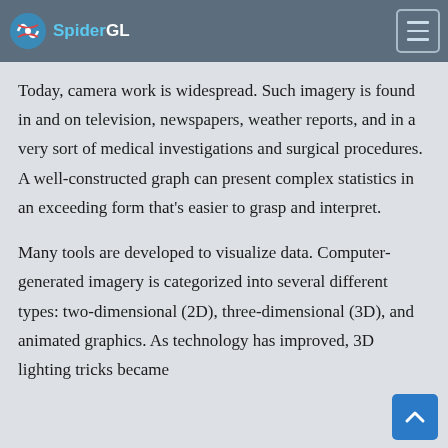SpiderGL
revolutionized animation, movies, advertising, and video games, in general.
Today, camera work is widespread. Such imagery is found in and on television, newspapers, weather reports, and in a very sort of medical investigations and surgical procedures. A well-constructed graph can present complex statistics in an exceeding form that's easier to grasp and interpret.
Many tools are developed to visualize data. Computer-generated imagery is categorized into several different types: two-dimensional (2D), three-dimensional (3D), and animated graphics. As technology has improved, 3D lighting tricks became